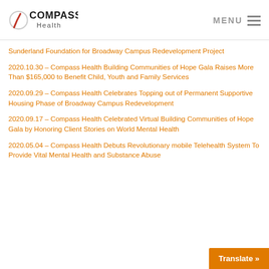Compass Health — MENU
Sunderland Foundation for Broadway Campus Redevelopment Project
2020.10.30 – Compass Health Building Communities of Hope Gala Raises More Than $165,000 to Benefit Child, Youth and Family Services
2020.09.29 – Compass Health Celebrates Topping out of Permanent Supportive Housing Phase of Broadway Campus Redevelopment
2020.09.17 – Compass Health Celebrated Virtual Building Communities of Hope Gala by Honoring Client Stories on World Mental Health
2020.05.04 – Compass Health Debuts Revolutionary mobile Telehealth System To Provide Vital Mental Health and Substance Abuse